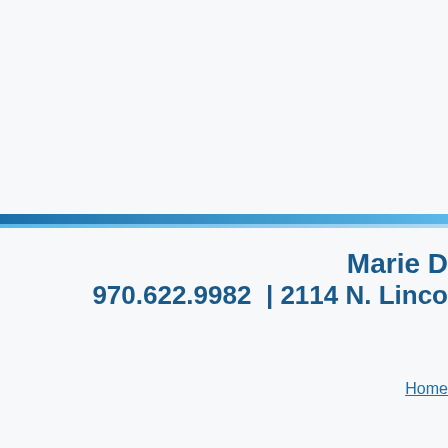Marie D
970.622.9982  | 2114 N. Linco
Home